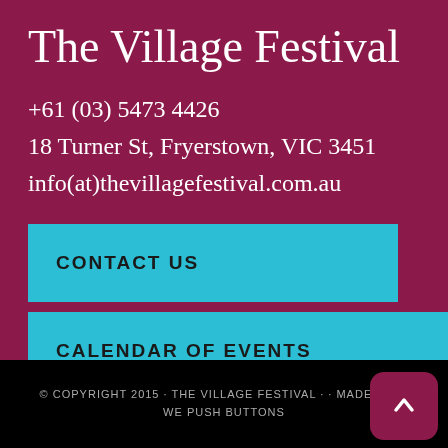The Village Festival
+61 (03) 5473 4426
18 Turner St, Fryerstown, VIC 3451
info(at)thevillagefestival.com.au
CONTACT US
CALENDAR OF EVENTS
© COPYRIGHT 2015 · THE VILLAGE FESTIVAL · · MADE WITH WE PUSH BUTTONS